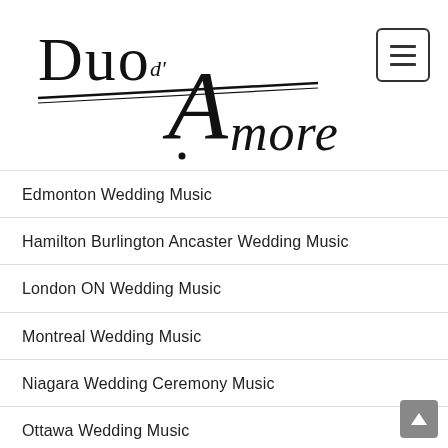[Figure (logo): Duo d'Amore cursive and serif logo with violin bow graphic]
Edmonton Wedding Music
Hamilton Burlington Ancaster Wedding Music
London ON Wedding Music
Montreal Wedding Music
Niagara Wedding Ceremony Music
Ottawa Wedding Music
Special Events
Toronto and GTA Wedding Music